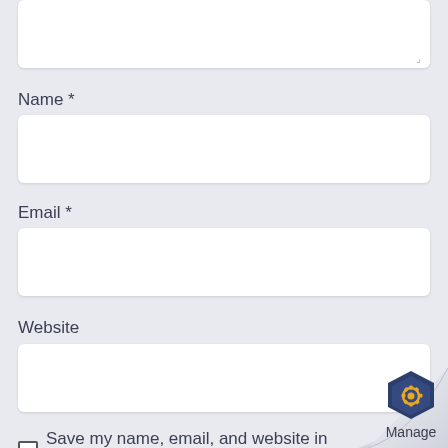[Figure (screenshot): Textarea input box (top, partially visible) with resize handle in bottom-right corner]
Name *
[Figure (screenshot): Name text input field (empty white rounded rectangle)]
Email *
[Figure (screenshot): Email text input field (empty white rounded rectangle)]
Website
[Figure (screenshot): Website text input field (empty white rounded rectangle)]
Save my name, email, and website in this br for the next time I comment.
[Figure (illustration): Page curl effect in bottom-right corner with a hexagonal Manage logo badge and 'Manage' text label]